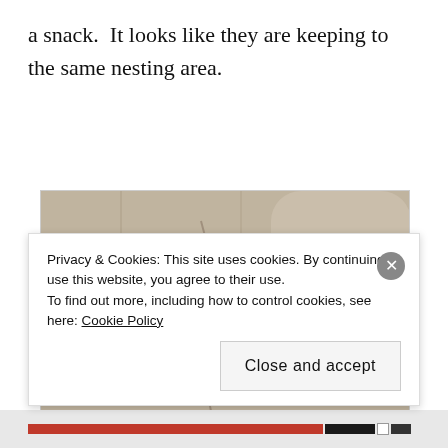a snack.  It looks like they are keeping to the same nesting area.
[Figure (photo): Close-up photograph of a bee or similar insect emerging from or entering a hole in a rough stone or concrete wall. The insect has a fuzzy white face, black eyes, and dark antennae. The wall surface is textured and sandy-colored.]
Privacy & Cookies: This site uses cookies. By continuing to use this website, you agree to their use.
To find out more, including how to control cookies, see here: Cookie Policy
Close and accept